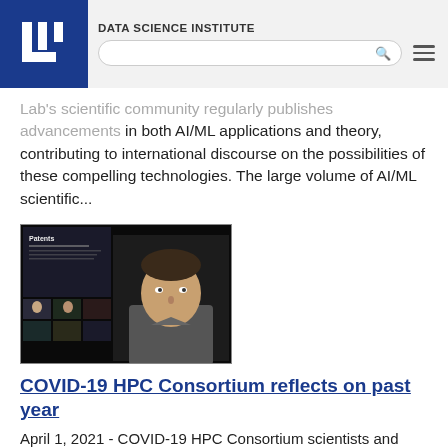DATA SCIENCE INSTITUTE
Lab's scientific community regularly publishes advancements in both AI/ML applications and theory, contributing to international discourse on the possibilities of these compelling technologies. The large volume of AI/ML scientific...
[Figure (photo): Screenshot of a virtual meeting / video conference showing multiple participants in a grid view, with a slide titled 'Patents' visible on the left side and a man in the center-right of the screen.]
COVID-19 HPC Consortium reflects on past year
April 1, 2021 - COVID-19 HPC Consortium scientists and stakeholders met virtually on March 23 to mark the consortium's one-year anniversary, discussing the progress of research projects and the need to pursue a broader